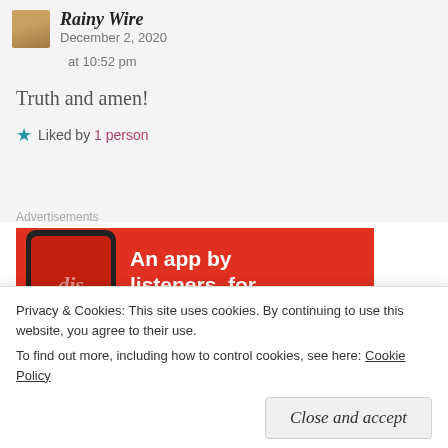Rainy Wire  December 2, 2020 at 10:52 pm
Truth and amen!
★ Liked by 1 person
Advertisements
[Figure (photo): Red advertisement banner for a music app with text 'An app by listeners, for listeners' and a phone image]
Privacy & Cookies: This site uses cookies. By continuing to use this website, you agree to their use. To find out more, including how to control cookies, see here: Cookie Policy
Close and accept